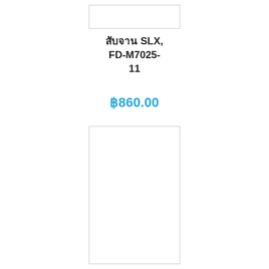[Figure (other): Empty white box with border at top of page]
สับจาน SLX, FD-M7025-11
฿860.00
[Figure (photo): Shimano SLX FD-M7025-11 front derailleur product image with Shimano brand label in blue]